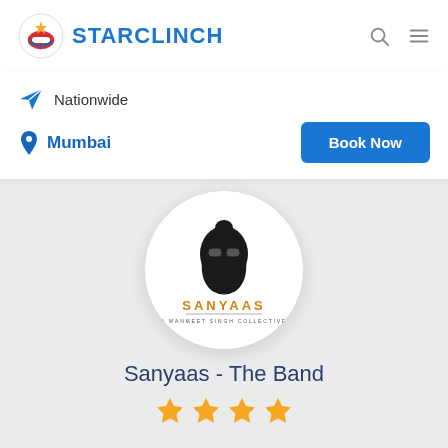[Figure (logo): StarClinch logo with circular emblem and blue text]
STARCLINCH
Nationwide
Mumbai
Book Now
[Figure (logo): Sanyaas - A Manmeet Singh Collective circular logo with bearded man illustration]
Sanyaas - The Band
[Figure (illustration): Four gold/yellow star rating icons]